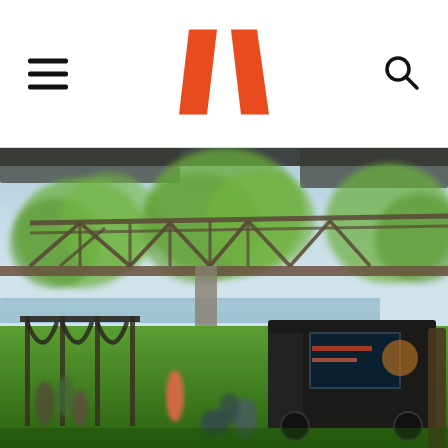Navigation header with hamburger menu, W logo (orange/red), and search icon
[Figure (photo): Outdoor park scene near a river with a steel bridge in the background, green trees, a black food truck on the right, a pergola/bike rack structure on the left, and people sitting and walking on a grassy lawn in the foreground.]